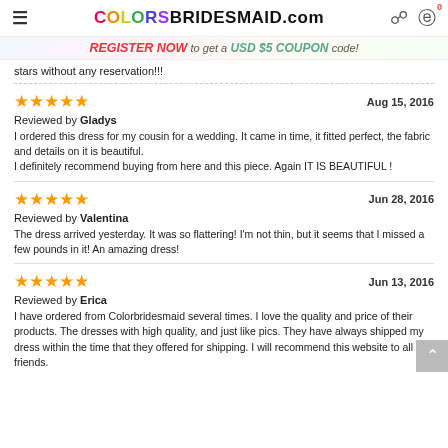COLORSBRIDESMAID.com
REGISTER NOW to get a USD $5 COUPON code!
stars without any reservation!!!
Aug 15, 2016
Reviewed by Gladys
I ordered this dress for my cousin for a wedding. It came in time, it fitted perfect, the fabric and details on it is beautiful.
I definitely recommend buying from here and this piece. Again IT IS BEAUTIFUL !
Jun 28, 2016
Reviewed by Valentina
The dress arrived yesterday. It was so flattering! I'm not thin, but it seems that I missed a few pounds in it! An amazing dress!
Jun 13, 2016
Reviewed by Erica
I have ordered from Colorbridesmaid several times. I love the quality and price of their products. The dresses with high quality, and just like pics. They have always shipped my dress within the time that they offered for shipping. I will recommend this website to all my friends.